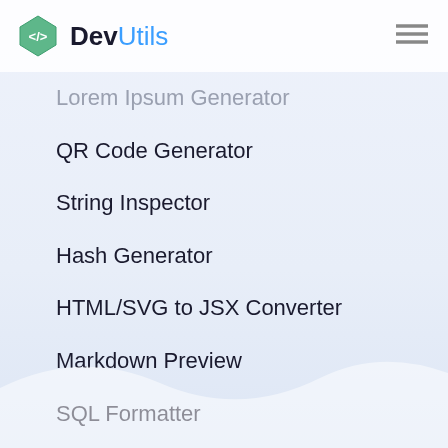DevUtils
Lorem Ipsum Generator
QR Code Generator
String Inspector
Hash Generator
HTML/SVG to JSX Converter
Markdown Preview
SQL Formatter
String Case Converter